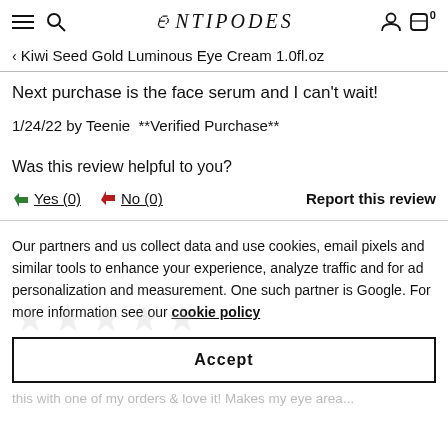≡  🔍  Antipodes  👤  🛒 0
< Kiwi Seed Gold Luminous Eye Cream 1.0fl.oz
Next purchase is the face serum and I can't wait!
1/24/22 by Teenie  **Verified Purchase**
Was this review helpful to you?
Yes (0)   No (0)   Report this review
Our partners and us collect data and use cookies, email pixels and similar tools to enhance your experience, analyze traffic and for ad personalization and measurement. One such partner is Google. For more information see our cookie policy
Accept
this with one of my orders & love it! Makes my eye area...